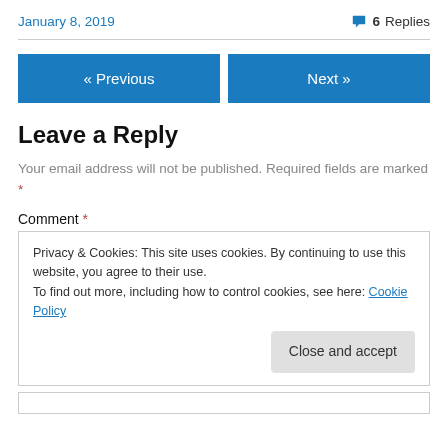January 8, 2019   💬 6 Replies
« Previous   Next »
Leave a Reply
Your email address will not be published. Required fields are marked *
Comment *
Privacy & Cookies: This site uses cookies. By continuing to use this website, you agree to their use.
To find out more, including how to control cookies, see here: Cookie Policy
Close and accept